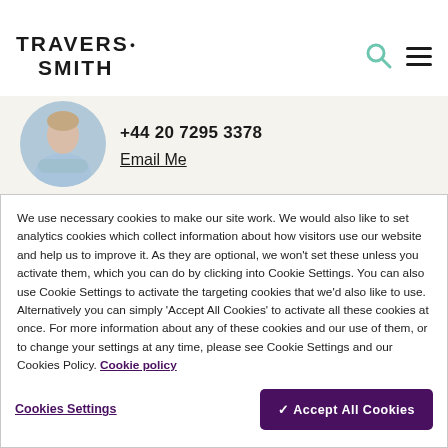TRAVERS. SMITH
[Figure (photo): Circular profile photo of a person in a light blue shirt with arms crossed]
+44 20 7295 3378
Email Me
We use necessary cookies to make our site work. We would also like to set analytics cookies which collect information about how visitors use our website and help us to improve it. As they are optional, we won't set these unless you activate them, which you can do by clicking into Cookie Settings. You can also use Cookie Settings to activate the targeting cookies that we'd also like to use. Alternatively you can simply 'Accept All Cookies' to activate all these cookies at once. For more information about any of these cookies and our use of them, or to change your settings at any time, please see Cookie Settings and our Cookies Policy. Cookie policy
Cookies Settings
✓ Accept All Cookies